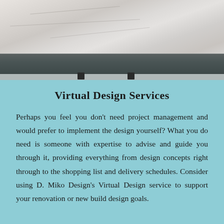[Figure (photo): A marble surface/countertop with grey and white veining, with a dark grey shelf or ledge below it and two small black clips visible at the bottom of the image.]
Virtual Design Services
Perhaps you feel you don't need project management and would prefer to implement the design yourself? What you do need is someone with expertise to advise and guide you through it, providing everything from design concepts right through to the shopping list and delivery schedules. Consider using D. Miko Design's Virtual Design service to support your renovation or new build design goals.